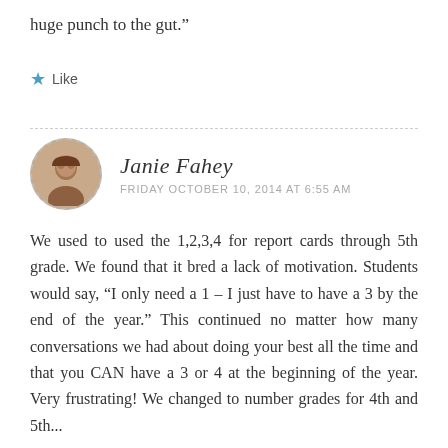huge punch to the gut.”
★ Like
Janie Fahey
FRIDAY OCTOBER 10, 2014 AT 6:55 AM
We used to used the 1,2,3,4 for report cards through 5th grade. We found that it bred a lack of motivation. Students would say, “I only need a 1 – I just have to have a 3 by the end of the year.” This continued no matter how many conversations we had about doing your best all the time and that you CAN have a 3 or 4 at the beginning of the year. Very frustrating! We changed to number grades for 4th and 5th...